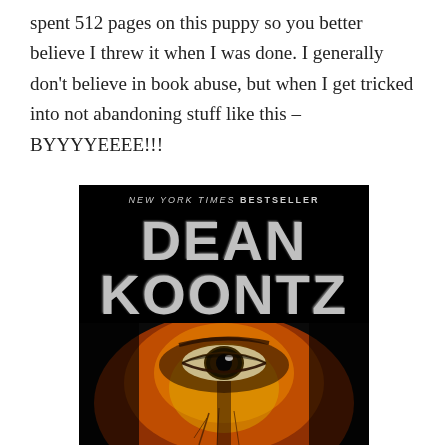spent 512 pages on this puppy so you better believe I threw it when I was done. I generally don't believe in book abuse, but when I get tricked into not abandoning stuff like this – BYYYYEEEE!!!
[Figure (photo): Book cover of a Dean Koontz novel. Black background with large silver bold text reading 'NEW YORK TIMES BESTSELLER' at top, then 'DEAN' and 'KOONTZ' in large silver/chrome letters. Below the text is a close-up of a human eye and face with orange/red/yellow flame-like coloring and dark shadows.]